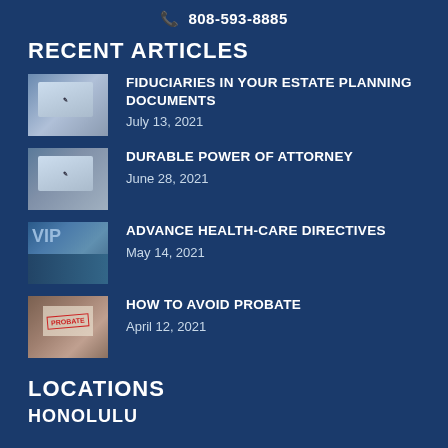📞 808-593-8885
RECENT ARTICLES
FIDUCIARIES IN YOUR ESTATE PLANNING DOCUMENTS
July 13, 2021
DURABLE POWER OF ATTORNEY
June 28, 2021
ADVANCE HEALTH-CARE DIRECTIVES
May 14, 2021
HOW TO AVOID PROBATE
April 12, 2021
LOCATIONS
HONOLULU